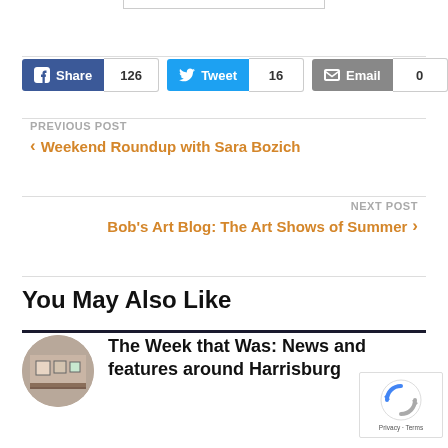Share 126
Tweet 16
Email 0
PREVIOUS POST
Weekend Roundup with Sara Bozich
NEXT POST
Bob's Art Blog: The Art Shows of Summer
You May Also Like
The Week that Was: News and features around Harrisburg